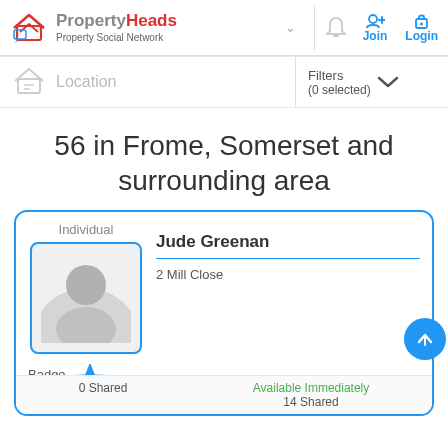PropertyHeads – Property Social Network
Location | Filters (0 selected)
56 in Frome, Somerset and surrounding area
[Figure (other): Profile card for Jude Greenan, Individual, showing avatar placeholder, address 2 Mill Close, badge level 0 star, Available Immediately, 0 Shared, 14 Shared]